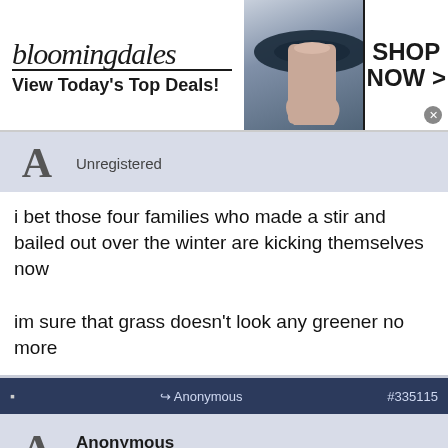[Figure (illustration): Bloomingdales advertisement banner: logo, model in hat, 'SHOP NOW >' button, 'View Today's Top Deals!' tagline]
Unregistered
i bet those four families who made a stir and bailed out over the winter are kicking themselves now

im sure that grass doesn't look any greener no more
Anonymous #335115
Anonymous
Unregistered
Those four families never left.....rumors
[Figure (illustration): Cheryl's Cookie Delivery advertisement: cookie image, title, description 'we have an amazing variety of different types of cookies', cheryls.com, circular arrow button]